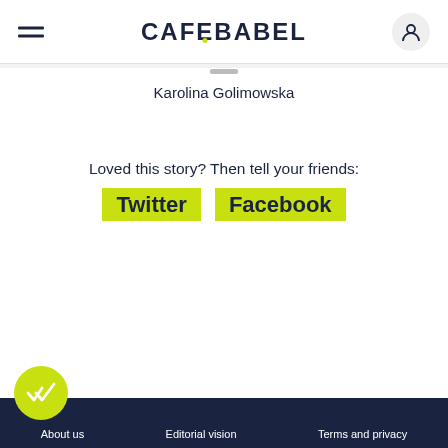CAFEBABEL
Karolina Golimowska
Loved this story? Then tell your friends:
Twitter  Facebook
About us   Editorial vision   Terms and privacy